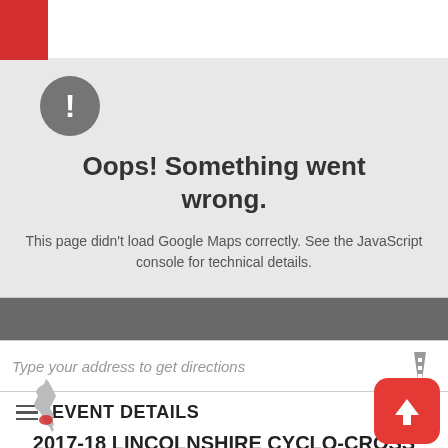[Figure (screenshot): Google Maps error panel showing exclamation mark icon, 'Oops! Something went wrong.' title, and error description text on grey background]
Oops! Something went wrong.
This page didn't load Google Maps correctly. See the JavaScript console for technical details.
Type your address to get directions
EVENT DETAILS
2017-18 LINCOLNSHIRE CYCLO-CROSS LEAGUE
[Figure (map): Small map/icon of United Kingdom with red highlight in England area]